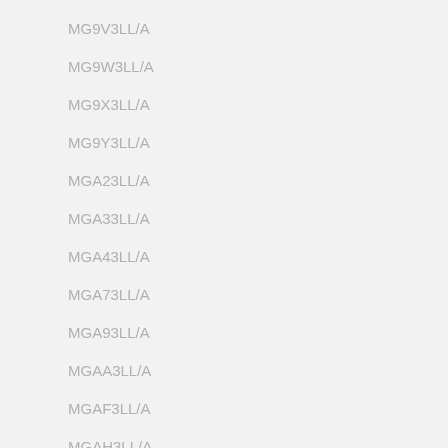MG9V3LL/A
MG9W3LL/A
MG9X3LL/A
MG9Y3LL/A
MGA23LL/A
MGA33LL/A
MGA43LL/A
MGA73LL/A
MGA93LL/A
MGAA3LL/A
MGAF3LL/A
MGAH3LL/A